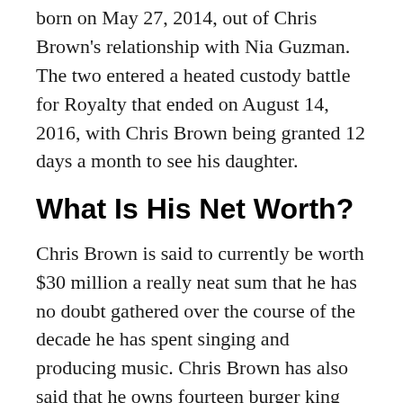born on May 27, 2014, out of Chris Brown's relationship with Nia Guzman. The two entered a heated custody battle for Royalty that ended on August 14, 2016, with Chris Brown being granted 12 days a month to see his daughter.
What Is His Net Worth?
Chris Brown is said to currently be worth $30 million a really neat sum that he has no doubt gathered over the course of the decade he has spent singing and producing music. Chris Brown has also said that he owns fourteen burger king restaurants and in 2007 he founded the record label CBE (Chris Brown Entertainment or Culture Beyond Your Evolution).